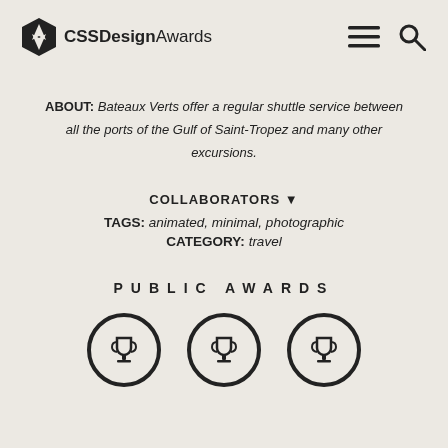CSS Design Awards
ABOUT: Bateaux Verts offer a regular shuttle service between all the ports of the Gulf of Saint-Tropez and many other excursions.
COLLABORATORS ▼
TAGS: animated, minimal, photographic
CATEGORY: travel
PUBLIC AWARDS
[Figure (illustration): Three trophy cup icons inside circular outlines arranged in a row]